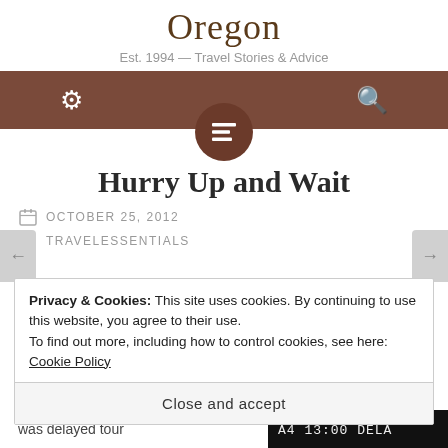Oregon
Est. 1994 — Travel Stories & Advice
[Figure (screenshot): Brown navigation bar with gear icon on left and search icon on right, and a dark brown circular menu button below center]
Hurry Up and Wait
OCTOBER 25, 2012
TRAVELESSENTIALS
Privacy & Cookies: This site uses cookies. By continuing to use this website, you agree to their use.
To find out more, including how to control cookies, see here: Cookie Policy
Close and accept
was delayed tour